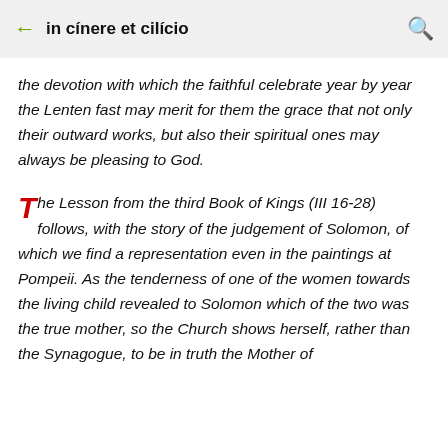← in cínere et cilício 🔍
the devotion with which the faithful celebrate year by year the Lenten fast may merit for them the grace that not only their outward works, but also their spiritual ones may always be pleasing to God.
The Lesson from the third Book of Kings (III 16-28) follows, with the story of the judgement of Solomon, of which we find a representation even in the paintings at Pompeii. As the tenderness of one of the women towards the living child revealed to Solomon which of the two was the true mother, so the Church shows herself, rather than the Synagogue, to be in truth the Mother of